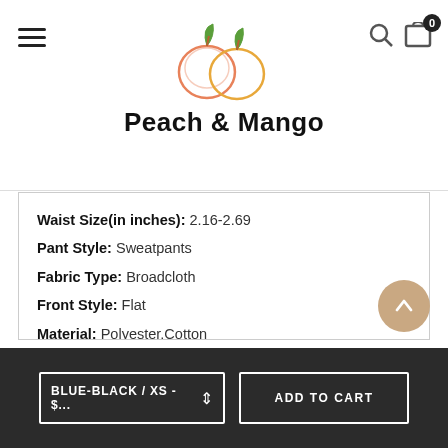Peach & Mango
Waist Size(in inches): 2.16-2.69
Pant Style: Sweatpants
Fabric Type: Broadcloth
Front Style: Flat
Material: Polyester,Cotton
Thickness: Midweight
Fit Type: Regular
Style: Casual
Material: 95.5%Polyester+4.5%Cotton
[Figure (other): Scroll to top circular button with upward chevron arrow]
BLUE-BLACK / XS - $...   ADD TO CART